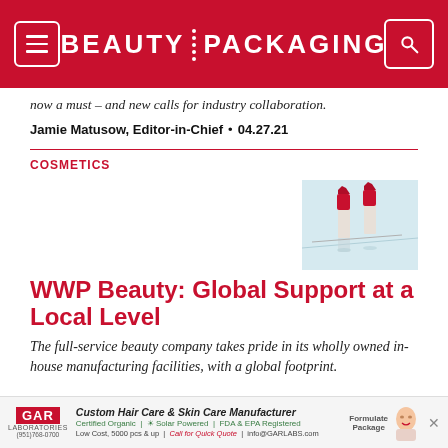BEAUTY PACKAGING
how a must – and new calls for industry collaboration.
Jamie Matusow, Editor-in-Chief • 04.27.21
COSMETICS
[Figure (photo): Two lipstick tubes (red caps) displayed on a light blue surface with reflections]
WWP Beauty: Global Support at a Local Level
The full-service beauty company takes pride in its wholly owned in-house manufacturing facilities, with a global footprint.
[Figure (infographic): GAR Laboratories advertisement: Custom Hair Care & Skin Care Manufacturer. Certified Organic, Solar Powered, FDA & EPA Registered. Low Cost, 5000 pcs & up. Call for Quick Quote. info@GARLABS.com. Formulate. Package.]